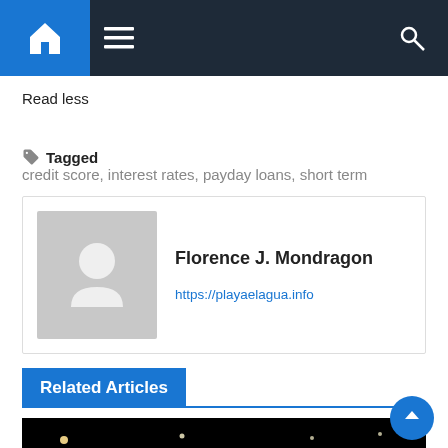Navigation bar with home, menu, and search icons
Read less
Tagged credit score, interest rates, payday loans, short term
Florence J. Mondragon
https://playaelagua.info
Related Articles
[Figure (photo): Dark nighttime street scene with light sources visible]